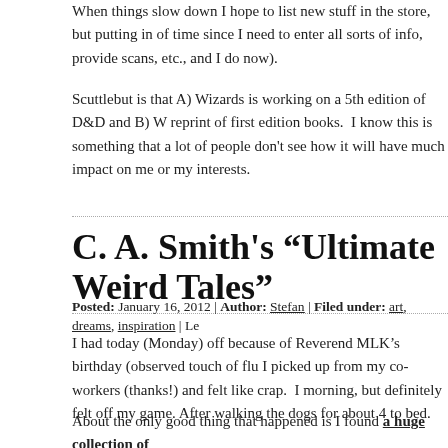When things slow down I hope to list new stuff in the store, but putting in of time since I need to enter all sorts of info, provide scans, etc., and I do now).
Scuttlebut is that A) Wizards is working on a 5th edition of D&D and B) W reprint of first edition books.  I know this is something that a lot of people don't see how it will have much impact on me or my interests.
C. A. Smith's “Ultimate Weird Tales”
Posted: January 16, 2012 | Author: Stefan | Filed under: art, dreams, inspiration | Le
I had today (Monday) off because of Reverend MLK's birthday (observed touch of flu I picked up from my co-workers (thanks!) and felt like crap.  I morning, but definitely felt off my game. After walking the dogs for about 4 to bed.
About the only good thing that happened is I found a huge collection of the e-reader at $1.99 via Amazon.